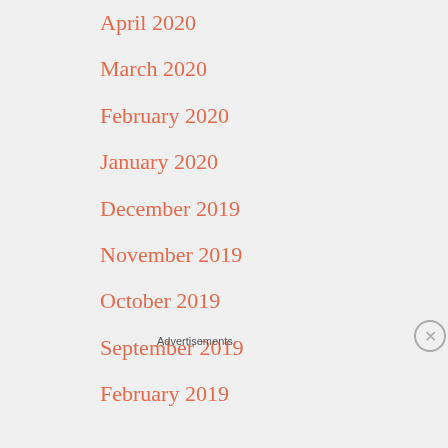April 2020
March 2020
February 2020
January 2020
December 2019
November 2019
October 2019
September 2019
February 2019
Advertisements
[Figure (screenshot): DuckDuckGo advertisement banner on orange background with text 'Search, browse, and email with more privacy. All in One Free App' and a phone showing DuckDuckGo logo]